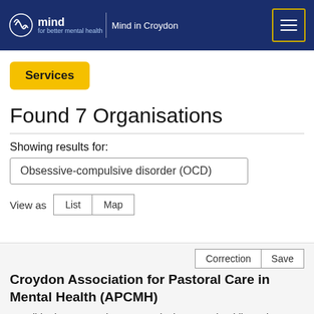Mind in Croydon
Services
Found 7 Organisations
Showing results for:
Obsessive-compulsive disorder (OCD)
View as  List  Map
Correction  Save
Croydon Association for Pastoral Care in Mental Health (APCMH)
St. Mildred's Community Centre, Bingham Road, Addiscombe, Surrey, CR0 7EB
Telephone: 020 8654 4010
Email: admin@croydon-apcmh.co.uk
Website: www.croydon-apcmh.co.uk/